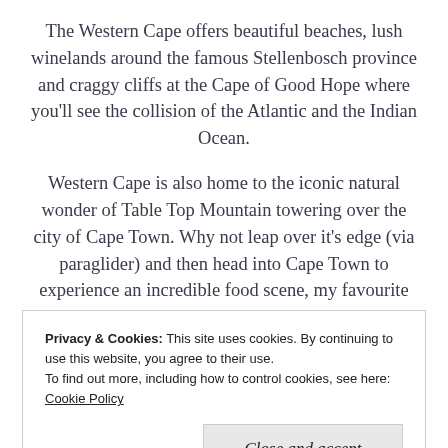The Western Cape offers beautiful beaches, lush winelands around the famous Stellenbosch province and craggy cliffs at the Cape of Good Hope where you'll see the collision of the Atlantic and the Indian Ocean.
Western Cape is also home to the iconic natural wonder of Table Top Mountain towering over the city of Cape Town. Why not leap over it's edge (via paraglider) and then head into Cape Town to experience an incredible food scene, my favourite
Privacy & Cookies: This site uses cookies. By continuing to use this website, you agree to their use.
To find out more, including how to control cookies, see here: Cookie Policy
Close and accept
something less adrenaline fuelled, check out the